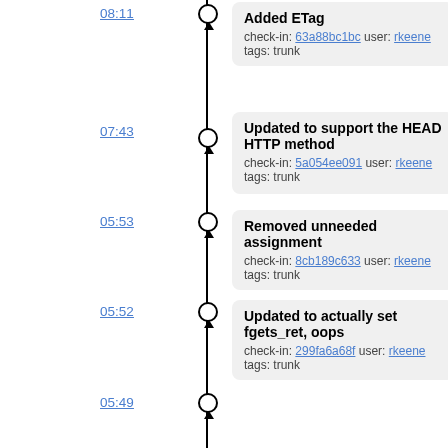08:11 — Added ETag — check-in: 63a88bc1bc user: rkeene tags: trunk
07:43 — Updated to support the HEAD HTTP method — check-in: 5a054ee091 user: rkeene tags: trunk
05:53 — Removed unneeded assignment — check-in: 8cb189c633 user: rkeene tags: trunk
05:52 — Updated to actually set fgets_ret, oops — check-in: 299fa6a68f user: rkeene tags: trunk
05:49 — Updated to check fgets() return value and removed now unused variable — check-in: 74c7ab003e user: rkeene tags: trunk
05:15 — Post release version increment — check-in: 6f539a8f16 user: rkeene tags: trunk
05:14 — Filed 1.2 — check-in: b6fe901824 user: rkeene tags: trunk, 1.2